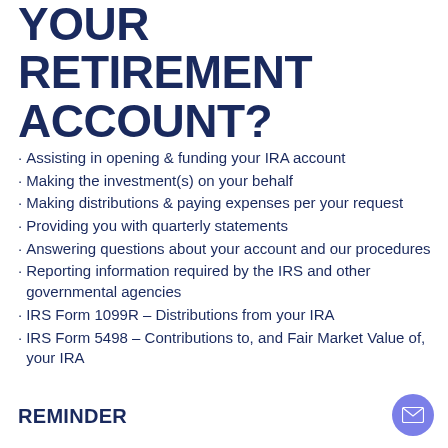YOUR RETIREMENT ACCOUNT?
Assisting in opening & funding your IRA account
Making the investment(s) on your behalf
Making distributions & paying expenses per your request
Providing you with quarterly statements
Answering questions about your account and our procedures
Reporting information required by the IRS and other governmental agencies
IRS Form 1099R – Distributions from your IRA
IRS Form 5498 – Contributions to, and Fair Market Value of, your IRA
REMINDER